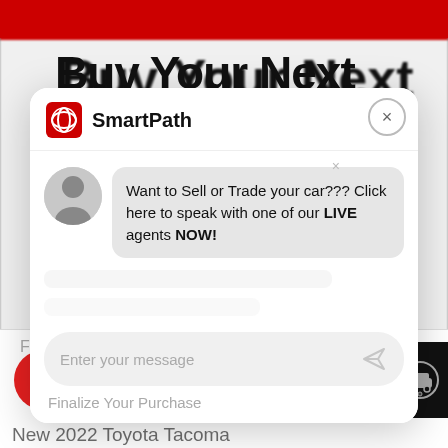[Figure (screenshot): SmartPath Toyota chat widget popup overlaid on a car dealership website. The background shows 'Buy Your Next Toyota Online' heading with red top bar, and at bottom are red 'Live Chat!' and grey 'Text Us!' buttons. A chat modal shows the SmartPath logo with a chat bubble: 'Want to Sell or Trade your car??? Click here to speak with one of our LIVE agents NOW!' with a message input field.]
Buy Your Next Toyota Online
Want to Sell or Trade your car??? Click here to speak with one of our LIVE agents NOW!
Enter your message
Finalize Your Purchase
Live Chat!
Text Us!
New 2022 Toyota Tacoma